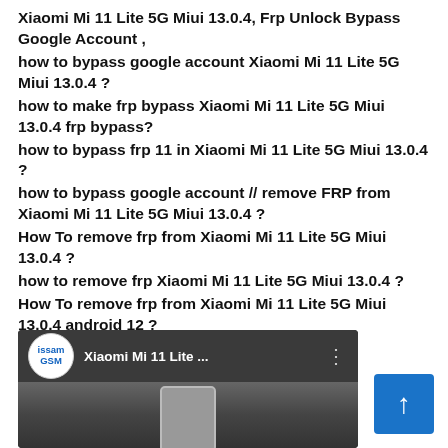Xiaomi Mi 11 Lite 5G Miui 13.0.4, Frp Unlock Bypass Google Account ,
how to bypass google account Xiaomi Mi 11 Lite 5G Miui 13.0.4 ?
how to make frp bypass Xiaomi Mi 11 Lite 5G Miui 13.0.4 frp bypass?
how to bypass frp 11 in Xiaomi Mi 11 Lite 5G Miui 13.0.4 ?
how to bypass google account // remove FRP from Xiaomi Mi 11 Lite 5G Miui 13.0.4 ?
How To remove frp from Xiaomi Mi 11 Lite 5G Miui 13.0.4 ?
how to remove frp Xiaomi Mi 11 Lite 5G Miui 13.0.4 ?
How To remove frp from Xiaomi Mi 11 Lite 5G Miui 13.0.4 android 12 ?
#Xiaomi_Mi_11_Lite_5G #frp #Miui_13.0.4
[Figure (screenshot): YouTube video thumbnail showing Xiaomi Mi 11 Lite with issam GSM channel logo and video title 'Xiaomi Mi 11 Lite ...']
[Figure (other): Blue scroll-to-top button with upward arrow]